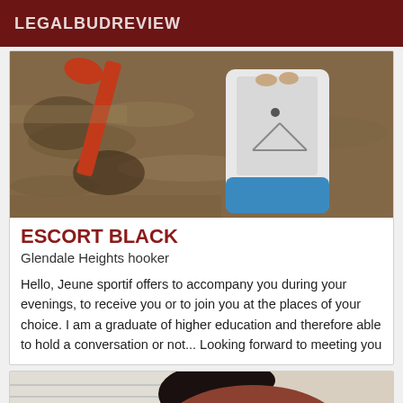LEGALBUDREVIEW
[Figure (photo): Person standing on a white and blue paddleboard on brown water, with a red paddle visible on the left side]
ESCORT BLACK
Glendale Heights hooker
Hello, Jeune sportif offers to accompany you during your evenings, to receive you or to join you at the places of your choice. I am a graduate of higher education and therefore able to hold a conversation or not... Looking forward to meeting you
[Figure (photo): Person with dark hair wearing a rust/brown outfit, partial view from behind/side]